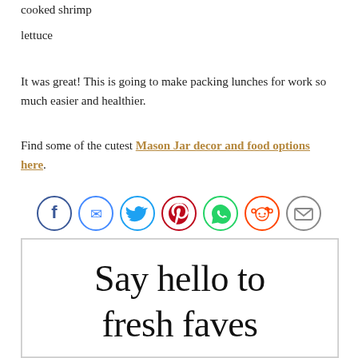cooked shrimp
lettuce
It was great! This is going to make packing lunches for work so much easier and healthier.
Find some of the cutest Mason Jar decor and food options here.
[Figure (infographic): Row of 7 social share buttons: Facebook (dark blue), Messenger (blue), Twitter (light blue), Pinterest (red), WhatsApp (green), Reddit (orange), Email (gray)]
[Figure (illustration): Promotional box with text: Say hello to fresh faves]